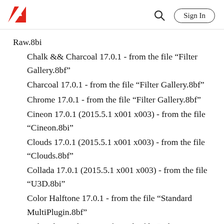Adobe header with logo, search, and Sign In
Raw.8bi
Chalk && Charcoal 17.0.1 - from the file “Filter Gallery.8bf”
Charcoal 17.0.1 - from the file “Filter Gallery.8bf”
Chrome 17.0.1 - from the file “Filter Gallery.8bf”
Cineon 17.0.1 (2015.5.1 x001 x003) - from the file “Cineon.8bi”
Clouds 17.0.1 (2015.5.1 x001 x003) - from the file “Clouds.8bf”
Collada 17.0.1 (2015.5.1 x001 x003) - from the file “U3D.8bi”
Color Halftone 17.0.1 - from the file “Standard MultiPlugin.8bf”
Colored Pencil 17.0.1 - from the file “Filter Gallery.8bf”